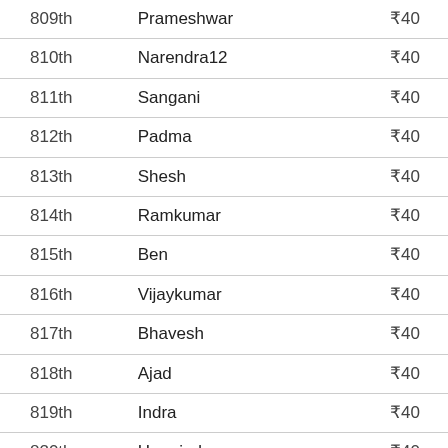| Rank | Name | Amount |
| --- | --- | --- |
| 809th | Prameshwar | ₹40 |
| 810th | Narendra12 | ₹40 |
| 811th | Sangani | ₹40 |
| 812th | Padma | ₹40 |
| 813th | Shesh | ₹40 |
| 814th | Ramkumar | ₹40 |
| 815th | Ben | ₹40 |
| 816th | Vijaykumar | ₹40 |
| 817th | Bhavesh | ₹40 |
| 818th | Ajad | ₹40 |
| 819th | Indra | ₹40 |
| 820th | Harminder | ₹40 |